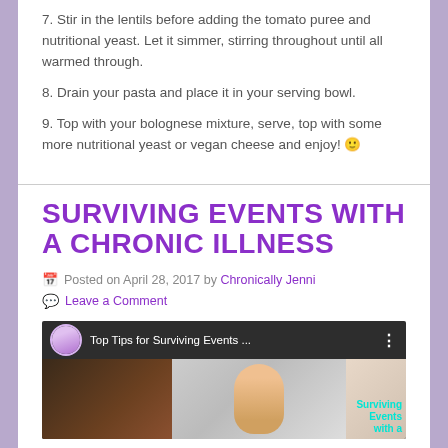7. Stir in the lentils before adding the tomato puree and nutritional yeast. Let it simmer, stirring throughout until all warmed through.
8. Drain your pasta and place it in your serving bowl.
9. Top with your bolognese mixture, serve, top with some more nutritional yeast or vegan cheese and enjoy! 🙂
SURVIVING EVENTS WITH A CHRONIC ILLNESS
Posted on April 28, 2017 by Chronically Jenni
Leave a Comment
[Figure (screenshot): Video thumbnail for 'Top Tips for Surviving Events ...' showing a person on screen with overlay text 'Surviving Events with a']